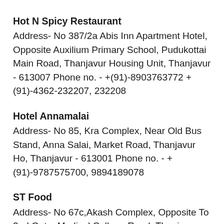Hot N Spicy Restaurant
Address- No 387/2a Abis Inn Apartment Hotel, Opposite Auxilium Primary School, Pudukottai Main Road, Thanjavur Housing Unit, Thanjavur - 613007 Phone no. - +(91)-8903763772 +(91)-4362-232207, 232208
Hotel Annamalai
Address- No 85, Kra Complex, Near Old Bus Stand, Anna Salai, Market Road, Thanjavur Ho, Thanjavur - 613001 Phone no. - +(91)-9787575700, 9894189078
ST Food
Address- No 67c,Akash Complex, Opposite To 2nd Gate, Medical College Road, Thanjavur Medical College,